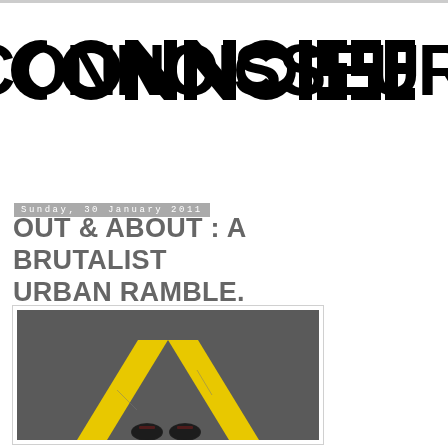[Figure (logo): CONNOISSEUR logo in large bold black stylized lettering with circular letter forms for C and O characters]
Sunday, 30 January 2011
OUT & ABOUT : A BRUTALIST URBAN RAMBLE.
[Figure (photo): Photo of yellow painted chevron/arrow marking on dark asphalt, with a person's feet (wearing dark shoes with red laces) standing at the base of the arrow, viewed from above]